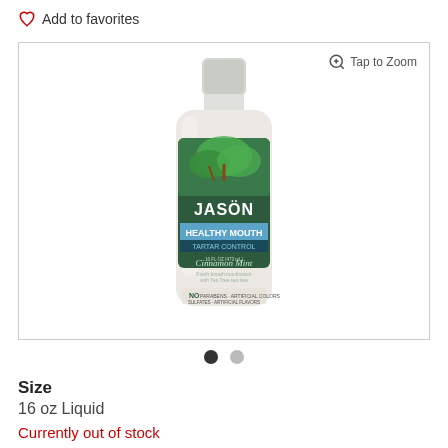Add to favorites
[Figure (photo): JASON Healthy Mouth Tartar Control mouthwash bottle in white with green label featuring plant imagery]
Tap to Zoom
Size
16 oz Liquid
Currently out of stock
You can view other similar items below, check back